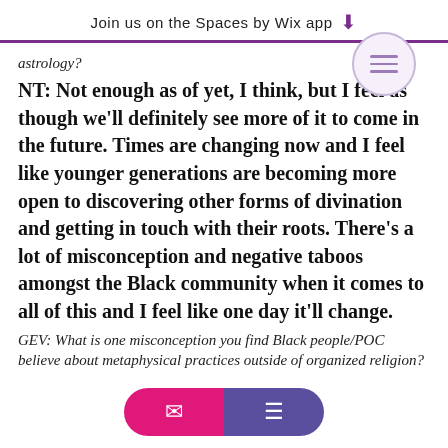Join us on the Spaces by Wix app ↓
astrology?
NT: Not enough as of yet, I think, but I feel as though we'll definitely see more of it to come in the future. Times are changing now and I feel like younger generations are becoming more open to discovering other forms of divination and getting in touch with their roots. There's a lot of misconception and negative taboos amongst the Black community when it comes to all of this and I feel like one day it'll change.
GEV: What is one misconception you find Black people/POC believe about metaphysical practices outside of organized religion?